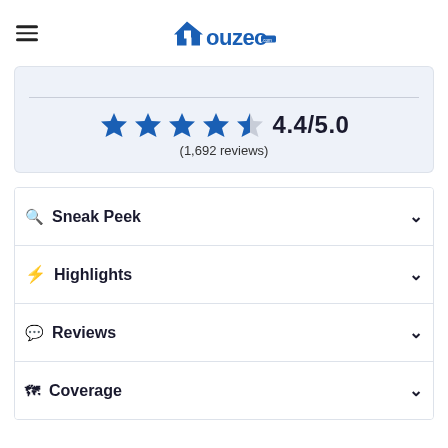Houzeo.com
[Figure (other): Rating display showing 4 full blue stars and 1 half blue star with score 4.4/5.0 and (1,692 reviews)]
Sneak Peek
Highlights
Reviews
Coverage